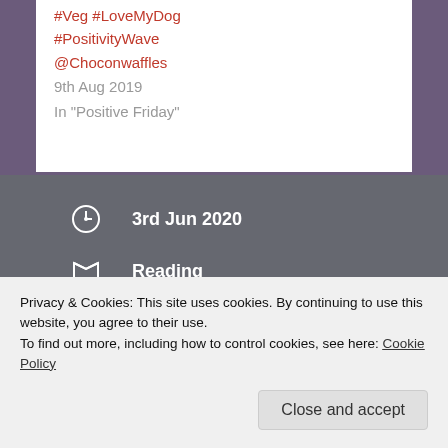#Veg #LoveMyDog #PositivityWave @Choconwaffles
9th Aug 2019
In "Positive Friday"
3rd Jun 2020
Reading
20 books of summer
#IslandsOfSecrets #ProvidedForReview #Gifted
Privacy & Cookies: This site uses cookies. By continuing to use this website, you agree to their use.
To find out more, including how to control cookies, see here: Cookie Policy
Close and accept